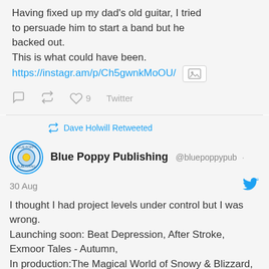Having fixed up my dad's old guitar, I tried to persuade him to start a band but he backed out.
This is what could have been.
https://instagr.am/p/Ch5gwnkMoOU/
9  Twitter
Dave Holwill Retweeted
Blue Poppy Publishing @bluepoppypub · 30 Aug
I thought I had project levels under control but I was wrong.
Launching soon: Beat Depression, After Stroke, Exmoor Tales - Autumn,
In production:The Magical World of Snowy & Blizzard, Exmoor Tales - Winter, The Wren's Nest and other stories, The Barrow Ship, Living River.